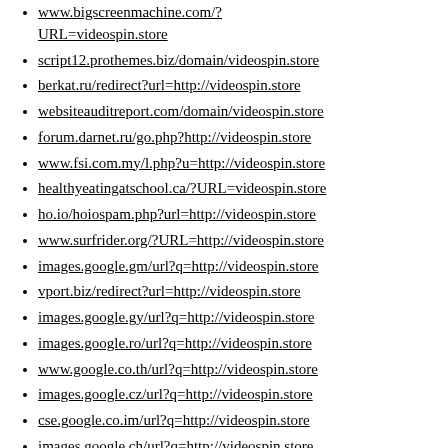www.bigscreenmachine.com/?URL=videospin.store
script12.prothemes.biz/domain/videospin.store
berkat.ru/redirect?url=http://videospin.store
websiteauditreport.com/domain/videospin.store
forum.darnet.ru/go.php?http://videospin.store
www.fsi.com.my/l.php?u=http://videospin.store
healthyeatingatschool.ca/?URL=videospin.store
ho.io/hoiospam.php?url=http://videospin.store
www.surfrider.org/?URL=http://videospin.store
images.google.gm/url?q=http://videospin.store
vport.biz/redirect?url=http://videospin.store
images.google.gy/url?q=http://videospin.store
images.google.ro/url?q=http://videospin.store
www.google.co.th/url?q=http://videospin.store
images.google.cz/url?q=http://videospin.store
cse.google.co.im/url?q=http://videospin.store
images.google.ch/url?q=http://videospin.store
cse.google.co.ls/url?q=http://videospin.store